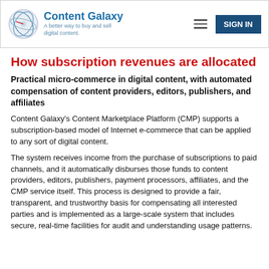Content Galaxy — A better way to buy and sell digital content.
How subscription revenues are allocated
Practical micro-commerce in digital content, with automated compensation of content providers, editors, publishers, and affiliates
Content Galaxy's Content Marketplace Platform (CMP) supports a subscription-based model of Internet e-commerce that can be applied to any sort of digital content.
The system receives income from the purchase of subscriptions to paid channels, and it automatically disburses those funds to content providers, editors, publishers, payment processors, affiliates, and the CMP service itself. This process is designed to provide a fair, transparent, and trustworthy basis for compensating all interested parties and is implemented as a large-scale system that includes secure, real-time facilities for audit and understanding usage patterns.